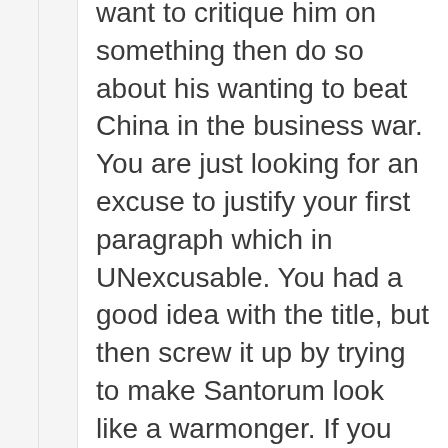want to critique him on something then do so about his wanting to beat China in the business war. You are just looking for an excuse to justify your first paragraph which in UNexcusable. You had a good idea with the title, but then screw it up by trying to make Santorum look like a warmonger. If you don't like someones politics then go after their politics but if you try to take words and twist them to your meaning you loose an entire group of people who can use